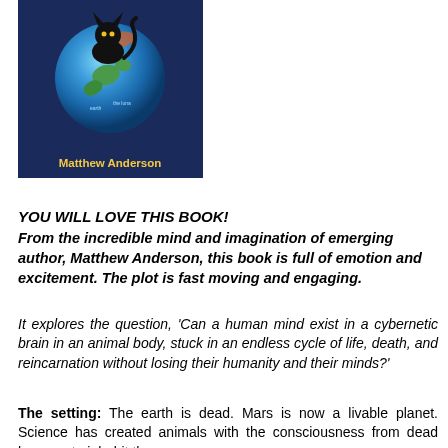[Figure (illustration): Book cover showing a dark blue background with a globe and a black cat silhouette, with the author name 'Matthew Anderson' in yellow bold text at the bottom.]
YOU WILL LOVE THIS BOOK!
From the incredible mind and imagination of emerging author, Matthew Anderson, this book is full of emotion and excitement. The plot is fast moving and engaging.
It explores the question, 'Can a human mind exist in a cybernetic brain in an animal body, stuck in an endless cycle of life, death, and reincarnation without losing their humanity and their minds?'
The setting: The earth is dead. Mars is now a livable planet. Science has created animals with the consciousness from dead humans to inhabit the new